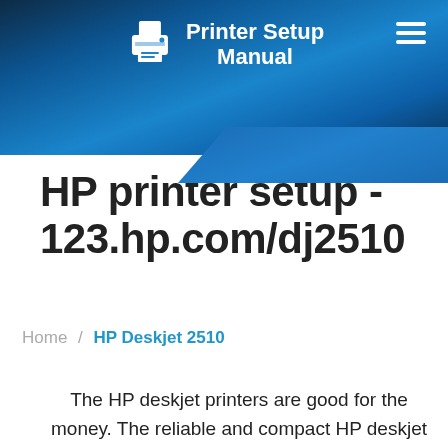Printer Setup Manual
HP printer setup - 123.hp.com/dj2510
Home / HP Deskjet 2510
The HP deskjet printers are good for the money. The reliable and compact HP deskjet